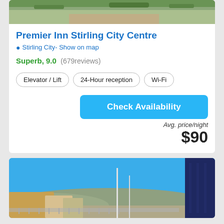[Figure (photo): Hotel exterior photo showing greenery, road, and landscaping from above]
Premier Inn Stirling City Centre
Stirling City- Show on map
Superb, 9.0 (679reviews)
Elevator / Lift
24-Hour reception
Wi-Fi
Check Availability
Avg. price/night
$90
[Figure (photo): Exterior cityscape photo showing a blue sky, buildings, hills in background, fencing, and a tall dark building on the right]